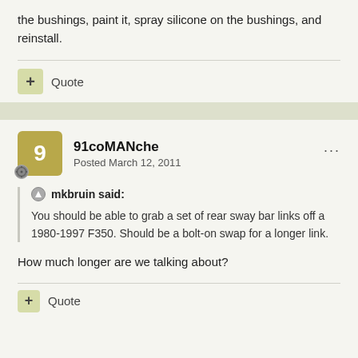the bushings, paint it, spray silicone on the bushings, and reinstall.
+ Quote
91coMANche
Posted March 12, 2011
mkbruin said:
You should be able to grab a set of rear sway bar links off a 1980-1997 F350. Should be a bolt-on swap for a longer link.
How much longer are we talking about?
+ Quote